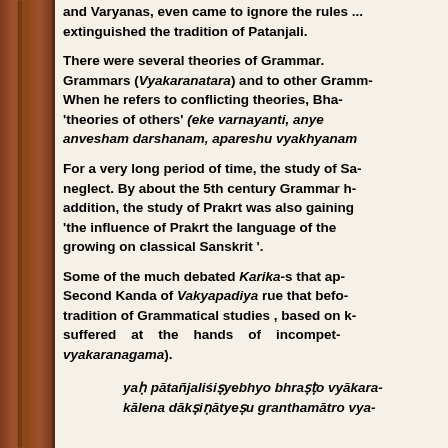and Varyanas, even came to ignore the rules ... extinguished the tradition of Patanjali.
There were several theories of Grammar. Grammars (Vyakaranatara) and to other Grammarians. When he refers to conflicting theories, Bha... 'theories of others' (eke varnayanti, anye ... anvesham darshanam, apareshu vyakhyanam ...
For a very long period of time, the study of Sanskrit suffered neglect. By about the 5th century Grammar had ... addition, the study of Prakrt was also gaining ... 'the influence of Prakrt the language of the ... growing on classical Sanskrit '.
Some of the much debated Karika-s that appear in the Second Kanda of Vakyapadiya rue that before ... tradition of Grammatical studies , based on ... suffered at the hands of incompetent ... vyakaranagama).
yah pātañjaliśiṣyebhyo bhraṣṭo vyākara... kālena dākṣiṇātyeṣu granthamātro vya...